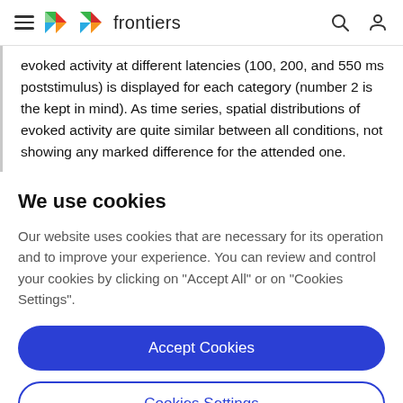frontiers
evoked activity at different latencies (100, 200, and 550 ms poststimulus) is displayed for each category (number 2 is the kept in mind). As time series, spatial distributions of evoked activity are quite similar between all conditions, not showing any marked difference for the attended one.
We use cookies
Our website uses cookies that are necessary for its operation and to improve your experience. You can review and control your cookies by clicking on "Accept All" or on "Cookies Settings".
Accept Cookies
Cookies Settings